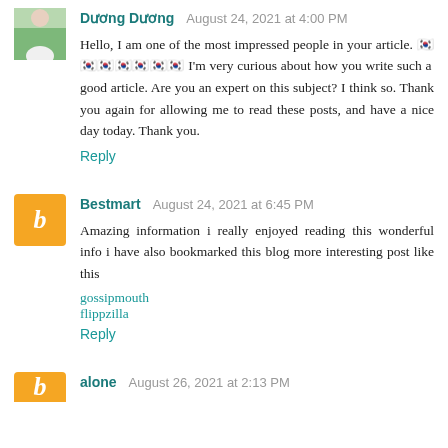Dương Dương  August 24, 2021 at 4:00 PM
Hello, I am one of the most impressed people in your article. 🇰🇷🇰🇷🇰🇷🇰🇷🇰🇷🇰🇷🇰🇷 I'm very curious about how you write such a good article. Are you an expert on this subject? I think so. Thank you again for allowing me to read these posts, and have a nice day today. Thank you.
Reply
Bestmart  August 24, 2021 at 6:45 PM
Amazing information i really enjoyed reading this wonderful info i have also bookmarked this blog more interesting post like this
gossipmouth
flippzilla
Reply
alone  August 26, 2021 at 2:13 PM